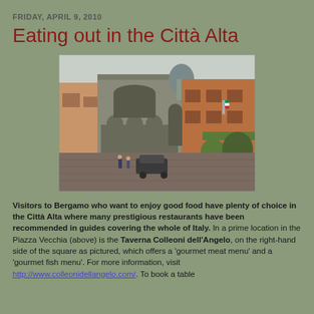FRIDAY, APRIL 9, 2010
Eating out in the Città Alta
[Figure (photo): Photograph of the Piazza Vecchia in Bergamo's Città Alta, showing a medieval stone building with arched colonnades on the left, a car parked in the cobblestone square, and brick buildings with a green awning on the right. A domed church is visible in the background.]
Visitors to Bergamo who want to enjoy good food have plenty of choice in the Città Alta where many prestigious restaurants have been recommended in guides covering the whole of Italy. In a prime location in the Piazza Vecchia (above) is the Taverna Colleoni dell'Angelo, on the right-hand side of the square as pictured, which offers a 'gourmet meat menu' and a 'gourmet fish menu'. For more information, visit http://www.colleonidellangelo.com/. To book a table